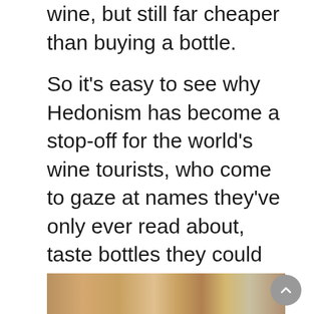wine, but still far cheaper than buying a bottle.
So it's easy to see why Hedonism has become a stop-off for the world's wine tourists, who come to gaze at names they've only ever read about, taste bottles they could never afford, surreptitiously touch the labels, sigh longingly, and take selfies posted with hashtags like: #OMG, #meandmyfirstgrowth, and #wineporn.
[Figure (photo): Interior photo of a wine shop showing shelves packed with wine bottles and glasses, warmly lit.]